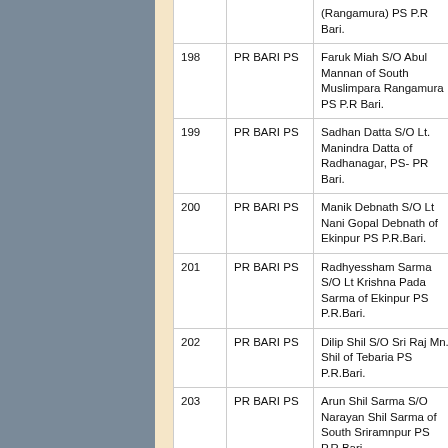| No. | PS | Name | Case |
| --- | --- | --- | --- |
|  |  | (Rangamura) PS P.R Bari. | IPC. |
| 198 | PR BARI PS | Faruk Miah S/O Abul Mannan of South Muslimpara Rangamura PS P.R Bari. | C/No-PRC U/S-427/14 IPC. |
| 199 | PR BARI PS | Sadhan Datta S/O Lt. Manindra Datta of Radhanagar, PS- PR Bari. | GR-121/97 U/S -261F. |
| 200 | PR BARI PS | Manik Debnath S/O Lt Nani Gopal Debnath of Ekinpur PS P.R.Bari. | GR-108/2k U/S -302/3 |
| 201 | PR BARI PS | Radhyessham Sarma S/O Lt Krishna Pada Sarma of Ekinpur PS P.R.Bari. | GR-108/2k |
| 202 | PR BARI PS | Dilip Shil S/O Sri Raj Mn. Shil of Tebaria PS P.R.Bari. | GR-20/04 |
| 203 | PR BARI PS | Arun Shil Sarma S/O Narayan Shil Sarma of South Sriramnpur PS P.R.Bari. | GR-172/10 |